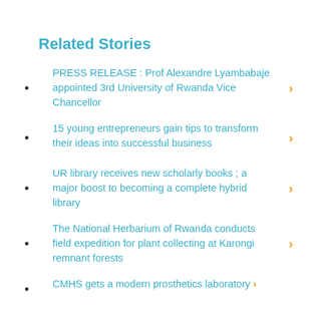Related Stories
PRESS RELEASE : Prof Alexandre Lyambabaje appointed 3rd University of Rwanda Vice Chancellor
15 young entrepreneurs gain tips to transform their ideas into successful business
UR library receives new scholarly books ; a major boost to becoming a complete hybrid library
The National Herbarium of Rwanda conducts field expedition for plant collecting at Karongi remnant forests
CMHS gets a modern prosthetics laboratory